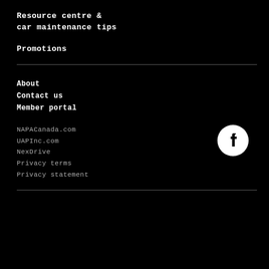Resource centre & car maintenance tips
Promotions
About
Contact us
Member portal
NAPACanada.com
UAPInc.com
NexDrive
Privacy terms
Privacy statement
[Figure (logo): Facebook logo icon — white circle with black Facebook 'f' symbol]